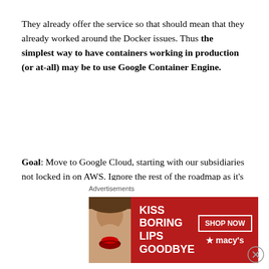They already offer the service so that should mean that they already worked around the Docker issues. Thus the simplest way to have containers working in production (or at-all) may be to use Google Container Engine.
Goal: Move to Google Cloud, starting with our subsidiaries not locked in on AWS. Ignore the rest of the roadmap as it's made irrelevant.
Google Container Engine: One more reason why Google Cloud is the future and AWS is the past (on top of 33% cheaper instances with 3 times the network speed and IOPS, in average)
[Figure (other): Advertisement banner for Macy's lipstick promotion reading 'KISS BORING LIPS GOODBYE' with a SHOP NOW button and Macy's star logo, overlaid with an Advertisements label and a close (X) button]